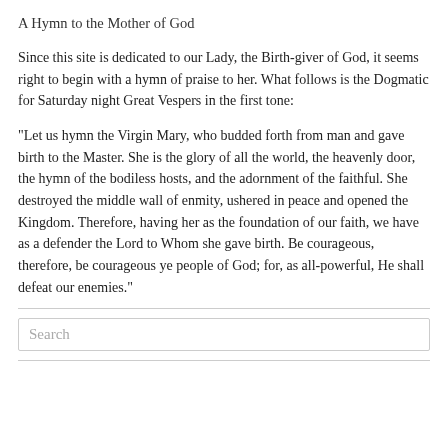A Hymn to the Mother of God
Since this site is dedicated to our Lady, the Birth-giver of God, it seems right to begin with a hymn of praise to her. What follows is the Dogmatic for Saturday night Great Vespers in the first tone:
"Let us hymn the Virgin Mary, who budded forth from man and gave birth to the Master. She is the glory of all the world, the heavenly door, the hymn of the bodiless hosts, and the adornment of the faithful. She destroyed the middle wall of enmity, ushered in peace and opened the Kingdom. Therefore, having her as the foundation of our faith, we have as a defender the Lord to Whom she gave birth. Be courageous, therefore, be courageous ye people of God; for, as all-powerful, He shall defeat our enemies."